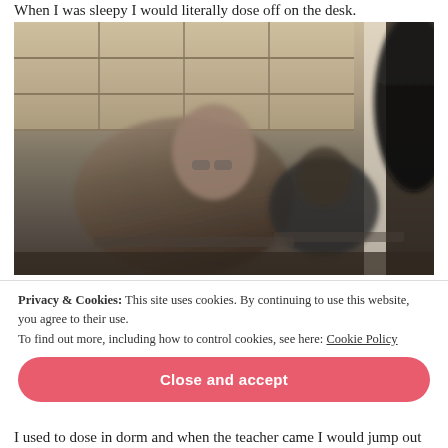When I was sleepy I would literally dose off on the desk.
[Figure (photo): Blurry photo of students sitting at desks in a classroom with shelving units along the back wall. A student in the foreground appears to be resting their head on their hand. Another student is visible in the background.]
Privacy & Cookies: This site uses cookies. By continuing to use this website, you agree to their use.
To find out more, including how to control cookies, see here: Cookie Policy
Close and accept
I used to dose in dorm and when the teacher came I would jump out